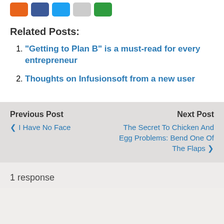[Figure (illustration): Row of social media sharing icons: orange, Facebook blue, Twitter blue, Reddit gray, green icon — partially cropped at top]
Related Posts:
"Getting to Plan B" is a must-read for every entrepreneur
Thoughts on Infusionsoft from a new user
Previous Post
❮ I Have No Face
Next Post
The Secret To Chicken And Egg Problems: Bend One Of The Flaps ❯
1 response